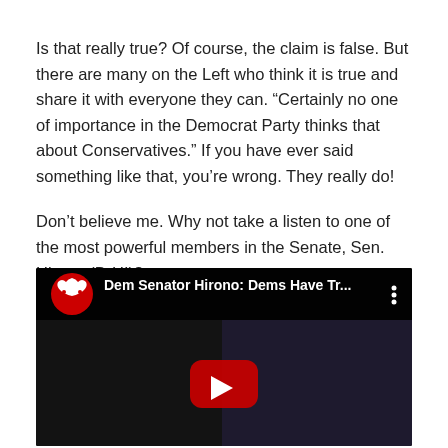Is that really true? Of course, the claim is false. But there are many on the Left who think it is true and share it with everyone they can. “Certainly no one of importance in the Democrat Party thinks that about Conservatives.” If you have ever said something like that, you’re wrong. They really do!
Don’t believe me. Why not take a listen to one of the most powerful members in the Senate, Sen. Hirono (D-HI)?:
[Figure (screenshot): YouTube video thumbnail showing 'Dem Senator Hirono: Dems Have Tr...' with a Republican elephant logo in a red circle, two people seated in a dark setting, and a YouTube play button in the center.]